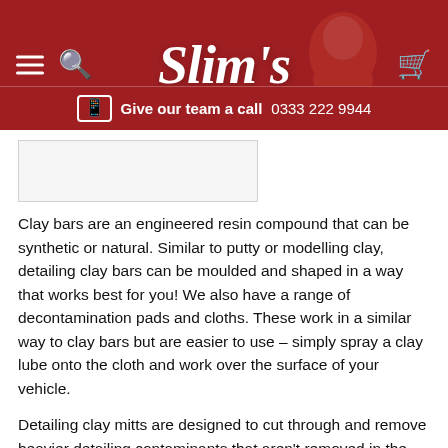Slim's — Give our team a call 0333 222 9944
[Figure (other): Slim's retail website header with logo, hamburger menu, search icon, cart icon, and a face silhouette on a dark red background, plus a call bar below]
Clay bars are an engineered resin compound that can be synthetic or natural. Similar to putty or modelling clay, detailing clay bars can be moulded and shaped in a way that works best for you! We also have a range of decontamination pads and cloths. These work in a similar way to clay bars but are easier to use – simply spray a clay lube onto the cloth and work over the surface of your vehicle.
Detailing clay mitts are designed to cut through and remove heavier detailing contaminants that aren't removed in the initial wash stage. Things like paint overspray, brake dust, rust, tar spots and more get collected up into the clay for a